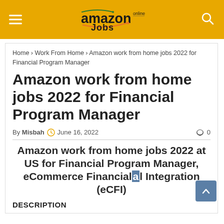Amazon Jobs Online — site header with logo, hamburger menu, and search icon
Home › Work From Home › Amazon work from home jobs 2022 for Financial Program Manager
Amazon work from home jobs 2022 for Financial Program Manager
By Misbah  June 16, 2022  0
Amazon work from home jobs 2022 at US for Financial Program Manager, eCommerce Financial Integration (eCFI)
DESCRIPTION